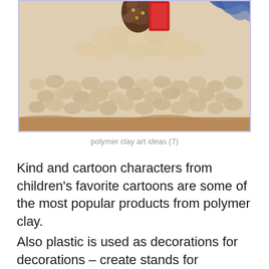[Figure (photo): Close-up photo of cream/beige crochet or macrame textile with knotted yarn texture, a pine cone and red object visible at top center, blue textile at upper right, on a wooden surface. Photo has a light purple/lavender border.]
polymer clay art ideas (7)
Kind and cartoon characters from children's favorite cartoons are some of the most popular products from polymer clay.
Also plastic is used as decorations for decorations – create stands for decorations, household